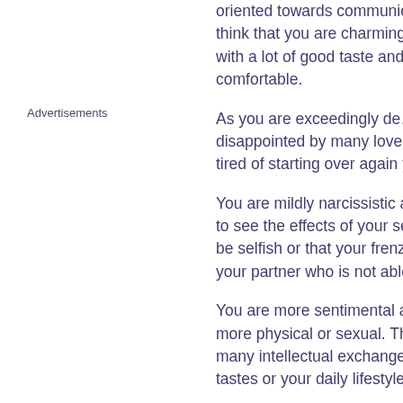Advertisements
oriented towards communica... think that you are charming with a lot of good taste and th... comfortable.
As you are exceedingly de... disappointed by many lovers... tired of starting over again you...
You are mildly narcissistic and... to see the effects of your sec... be selfish or that your frenzied... your partner who is not able to...
You are more sentimental a... more physical or sexual. The... many intellectual exchanges a... tastes or your daily lifestyle.
In general, you will marry only... to have romantic encounters.